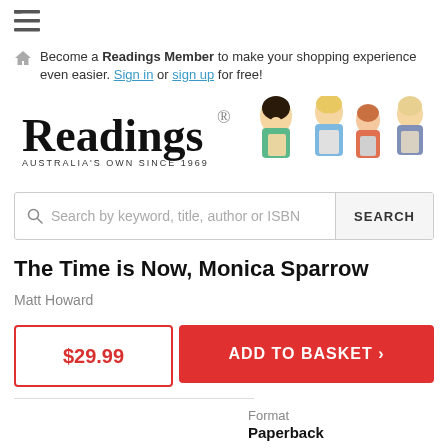≡ (menu icon)
Become a Readings Member to make your shopping experience even easier. Sign in or sign up for free!
[Figure (logo): Readings bookstore logo with illustration of people reading books. Text: Readings, Australia's Own Since 1969]
Search by keyword, title, author or ISBN  SEARCH
The Time is Now, Monica Sparrow
Matt Howard
$29.99
ADD TO BASKET ›
Format
Paperback